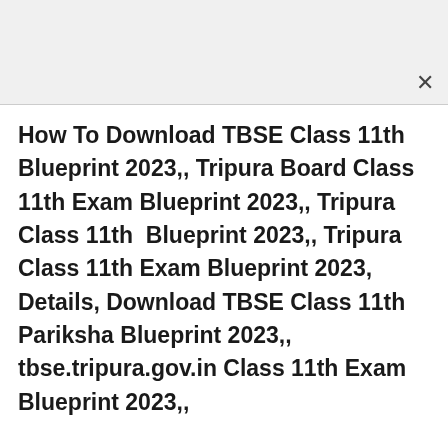How To Download TBSE Class 11th Blueprint 2023,, Tripura Board Class 11th Exam Blueprint 2023,, Tripura Class 11th Blueprint 2023,, Tripura Class 11th Exam Blueprint 2023, Details, Download TBSE Class 11th Pariksha Blueprint 2023,, tbse.tripura.gov.in Class 11th Exam Blueprint 2023,,